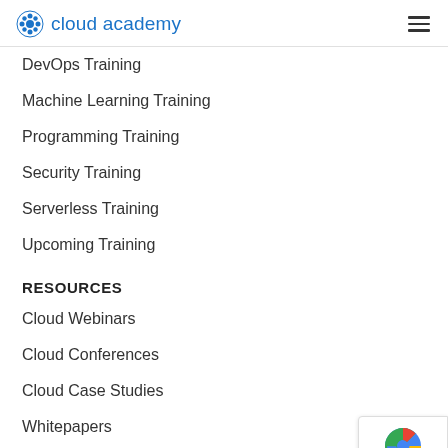cloud academy
DevOps Training
Machine Learning Training
Programming Training
Security Training
Serverless Training
Upcoming Training
RESOURCES
Cloud Webinars
Cloud Conferences
Cloud Case Studies
Whitepapers
Cloud Academy Blog